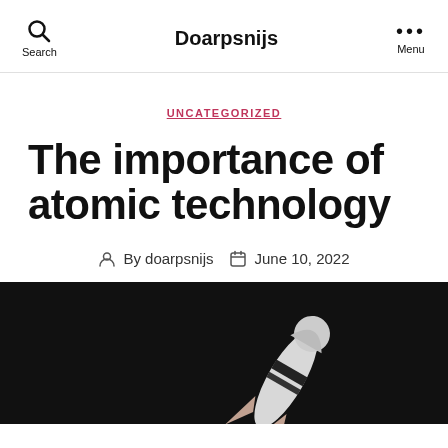Doarpsnijs | Search | Menu
UNCATEGORIZED
The importance of atomic technology
By doarpsnijs  June 10, 2022
[Figure (photo): Dark background with a rocket/spacecraft model visible at the bottom right]